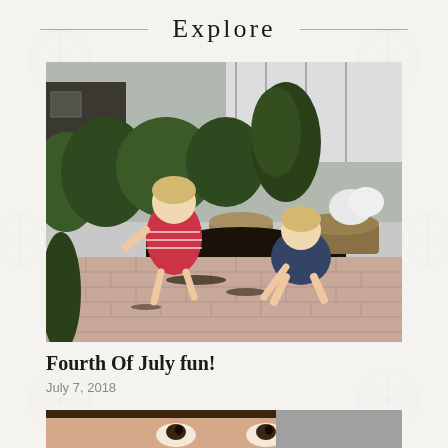Explore
[Figure (photo): Two young toddler girls playing on a brick patio in a garden. One girl wears a red and white striped sundress, the other wears a blue dress. They are playing with dirt near flower pots and green shrubbery.]
Fourth Of July fun!
July 7, 2018
[Figure (photo): Partial view of a person's face - eyes and forehead visible, cropped at bottom of page.]